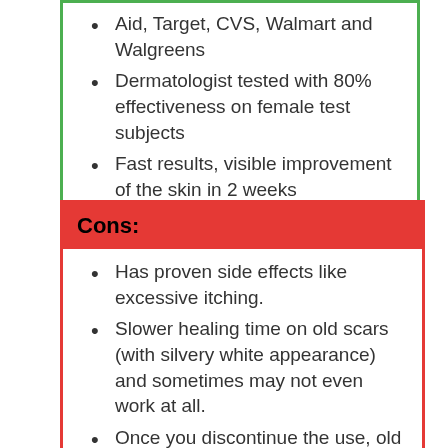Aid, Target, CVS, Walmart and Walgreens
Dermatologist tested with 80% effectiveness on female test subjects
Fast results, visible improvement of the skin in 2 weeks
Cons:
Has proven side effects like excessive itching.
Slower healing time on old scars (with silvery white appearance) and sometimes may not even work at all.
Once you discontinue the use, old symptoms like acne recur, the skin will